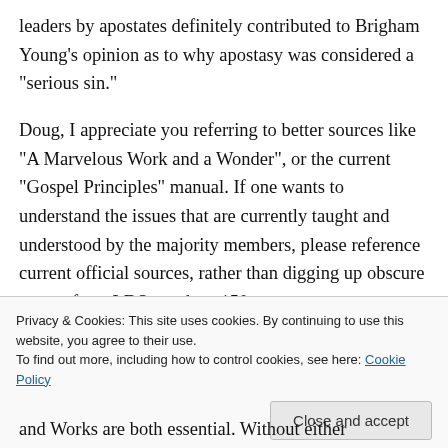leaders by apostates definitely contributed to Brigham Young’s opinion as to why apostasy was considered a “serious sin.”
Doug, I appreciate you referring to better sources like “A Marvelous Work and a Wonder”, or the current “Gospel Principles” manual. If one wants to understand the issues that are currently taught and understood by the majority members, please reference current official sources, rather than digging up obscure quotes from LDS prophets 150 years ago.
Privacy & Cookies: This site uses cookies. By continuing to use this website, you agree to their use.
To find out more, including how to control cookies, see here: Cookie Policy
Close and accept
and Works are both essential. Without either